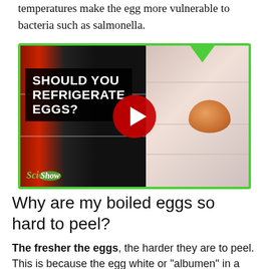temperatures make the egg more vulnerable to bacteria such as salmonella.
[Figure (screenshot): YouTube video thumbnail for SciShow video titled 'Should You Refrigerate Eggs?' showing bold white text on dark background with a play button, an egg in a cup on the right side, and the SciShow logo in the bottom left. The thumbnail has a green border.]
Why are my boiled eggs so hard to peel?
The fresher the eggs, the harder they are to peel. This is because the egg white or "albumen" in a fresh egg has a relatively low